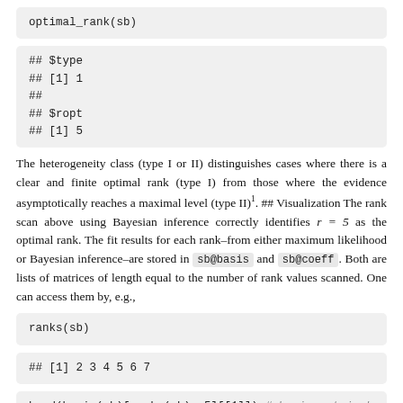The heterogeneity class (type I or II) distinguishes cases where there is a clear and finite optimal rank (type I) from those where the evidence asymptotically reaches a maximal level (type II)1. ## Visualization The rank scan above using Bayesian inference correctly identifies r = 5 as the optimal rank. The fit results for each rank–from either maximum likelihood or Bayesian inference–are stored in sb@basis and sb@coeff. Both are lists of matrices of length equal to the number of rank values scanned. One can access them by, e.g.,